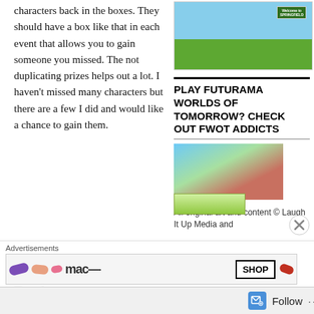characters back in the boxes. They should have a box like that in each event that allows you to gain someone you missed. The not duplicating prizes helps out a lot. I haven't missed many characters but there are a few I did and would like a chance to gain them.
[Figure (screenshot): Screenshot of Simpsons Tapped Out game showing characters in Springfield]
PLAY FUTURAMA WORLDS OF TOMORROW? CHECK OUT FWOT ADDICTS
[Figure (screenshot): Screenshot from Futurama Worlds of Tomorrow game showing Fry, Leela, and Bender]
All original art and content © Laugh It Up Media and
Like
Advertisements
[Figure (screenshot): Advertisement banner showing colorful pills and SHOP button]